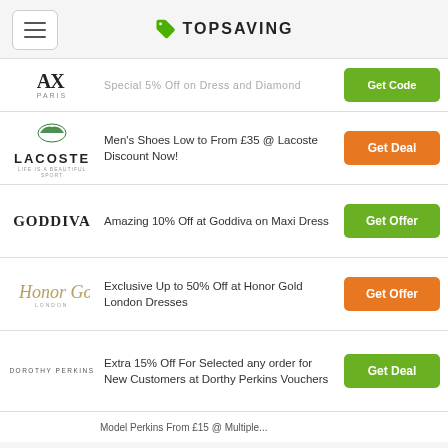TOPSAVING
Special 5% Off on Dress and Diamond
Men's Shoes Low to From £35 @ Lacoste Discount Now!
Amazing 10% Off at Goddiva on Maxi Dress
Exclusive Up to 50% Off at Honor Gold London Dresses
Extra 15% Off For Selected any order for New Customers at Dorthy Perkins Vouchers
Model Perkins From £15 @ Multiple...